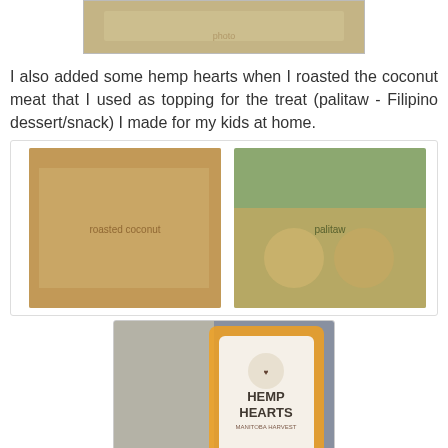[Figure (photo): Close-up photo of a plate with rice/grain dish, partially cropped at top]
I also added some hemp hearts when I roasted the coconut meat that I used as topping for the treat (palitaw - Filipino dessert/snack)  I made for my kids at home.
[Figure (photo): Photo of roasted shredded coconut meat with hemp hearts mixed in, close-up texture]
[Figure (photo): Photo of palitaw (Filipino dessert) in cupcake liners with decorative picks on top]
[Figure (photo): Photo of Hemp Hearts product bag (Manitoba Harvest brand) next to a decorative ceramic pitcher with floral design and some decorative items in foreground]